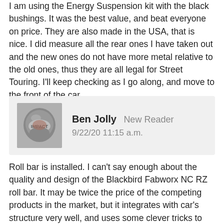I am using the Energy Suspension kit with the black bushings. It was the best value, and beat everyone on price. They are also made in the USA, that is nice. I did measure all the rear ones I have taken out and the new ones do not have more metal relative to the old ones, thus they are all legal for Street Touring. I'll keep checking as I go along, and move to the front of the car.
Ben Jolly  New Reader
9/22/20 11:15 a.m.
Roll bar is installed. I can't say enough about the quality and design of the Blackbird Fabworx NC RZ roll bar. It may be twice the price of the competing products in the market, but it integrates with car's structure very well, and uses some clever tricks to maximize the height of the main hoop and retain the folding soft top. The finish is very nice too, the silver powder coat looks even better in the car than I could have imagined.  The interior went back together ok, the instructions suggest putting the interior back together on the